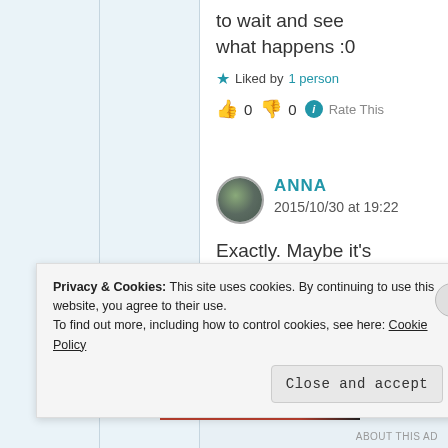to wait and see what happens :0
★ Liked by 1 person
👍 0 👎 0 ℹ Rate This
ANNA
2015/10/30 at 19:22
Exactly. Maybe it's gonna be totally
Privacy & Cookies: This site uses cookies. By continuing to use this website, you agree to their use.
To find out more, including how to control cookies, see here: Cookie Policy
Close and accept